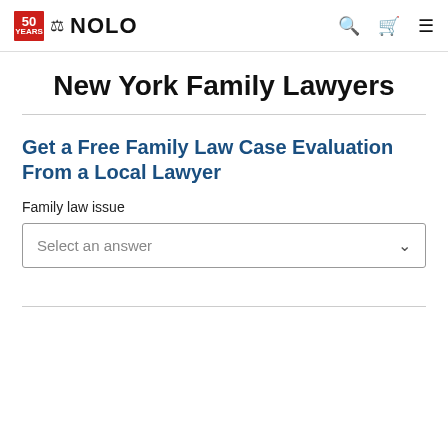NOLO — 50 YEARS
New York Family Lawyers
Get a Free Family Law Case Evaluation From a Local Lawyer
Family law issue
Select an answer